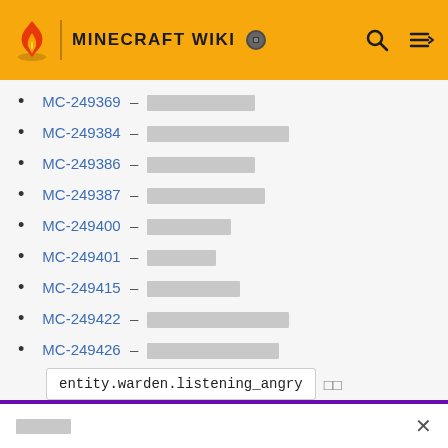MINECRAFT WIKI
MC-249369 – [redacted]
MC-249384 – [redacted]
MC-249386 – [redacted]
MC-249387 – [redacted]
MC-249400 – [redacted]
MC-249401 – [redacted]
MC-249415 – [redacted]
MC-249422 – [redacted]
MC-249426 – [redacted]
entity.warden.listening_angry
MC-249430 – [redacted]
MC-249447 – [redacted]
[redacted notification text]